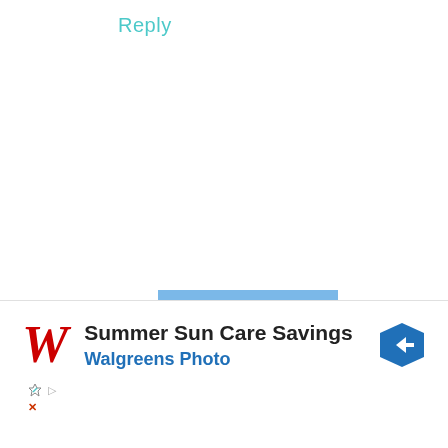Reply
[Figure (photo): Avatar photo of Larissa: person sitting by a lake with mountains and blue sky in the background]
LARISSA says
OCTOBER 4, 2017 AT 10:20 PM
I'm literally drooling – not only over the food pictures, but the
[Figure (other): Walgreens Photo advertisement banner: Summer Sun Care Savings, Walgreens Photo, with red Walgreens logo and blue navigation arrow icon]